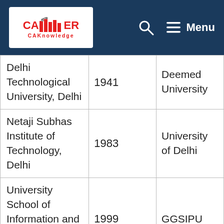CAKnowledge — Menu
| University/Institute | Year | Type |
| --- | --- | --- |
| Delhi Technological University, Delhi | 1941 | Deemed University |
| Netaji Subhas Institute of Technology, Delhi | 1983 | University of Delhi |
| University School of Information and ... | 1999 | GGSIPU |